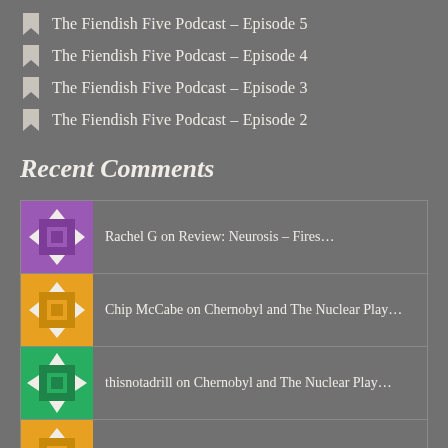The Fiendish Five Podcast – Episode 5
The Fiendish Five Podcast – Episode 4
The Fiendish Five Podcast – Episode 3
The Fiendish Five Podcast – Episode 2
Recent Comments
Rachel G on Review: Neurosis – Fires…
Chip McCabe on Chernobyl and The Nuclear Play…
thisnotadrill on Chernobyl and The Nuclear Play…
Chip McCabe on The Metal Dad's Top Meta…
… on The Metal Dad's Top Me…